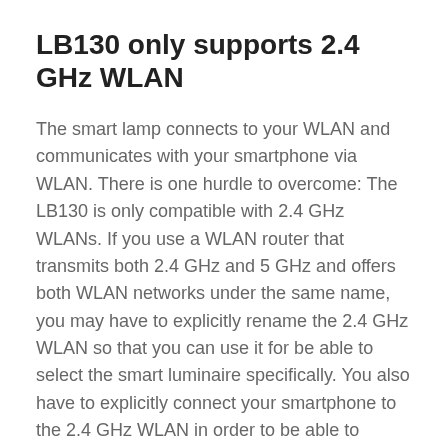LB130 only supports 2.4 GHz WLAN
The smart lamp connects to your WLAN and communicates with your smartphone via WLAN. There is one hurdle to overcome: The LB130 is only compatible with 2.4 GHz WLANs. If you use a WLAN router that transmits both 2.4 GHz and 5 GHz and offers both WLAN networks under the same name, you may have to explicitly rename the 2.4 GHz WLAN so that you can use it for be able to select the smart luminaire specifically. You also have to explicitly connect your smartphone to the 2.4 GHz WLAN in order to be able to access the LED. As soon as you have the TP-Link light from your smartphone or tablet you can